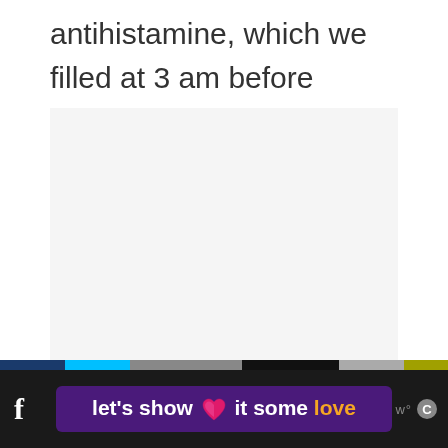antihistamine, which we filled at 3 am before leaving the hospital.
[Figure (other): Empty light gray rectangular image placeholder area]
[Figure (infographic): Social media banner with colored strip at top, dark background, purple rounded rectangle containing a pink heart and the text "let's show it some love" in white and orange, Facebook icon on left, additional icons on right]